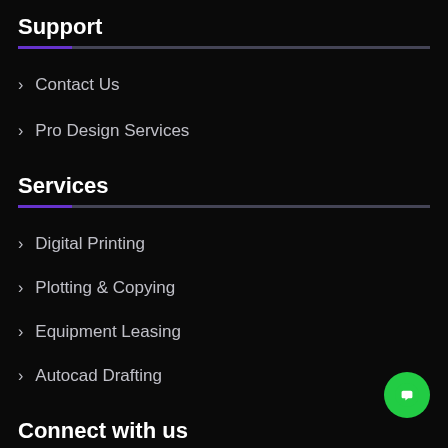Support
> Contact Us
> Pro Design Services
Services
> Digital Printing
> Plotting & Copying
> Equipment Leasing
> Autocad Drafting
Connect with us